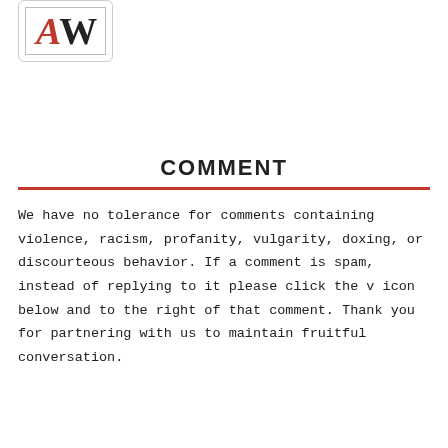[Figure (logo): AW logo with red A and black W letters inside a bordered box]
COMMENT
We have no tolerance for comments containing violence, racism, profanity, vulgarity, doxing, or discourteous behavior. If a comment is spam, instead of replying to it please click the v icon below and to the right of that comment. Thank you for partnering with us to maintain fruitful conversation.